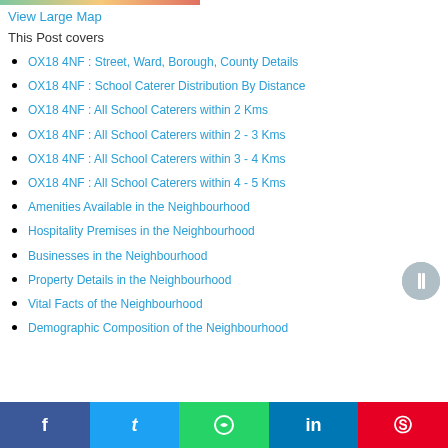View Large Map
This Post covers
OX18 4NF : Street, Ward, Borough, County Details
OX18 4NF : School Caterer Distribution By Distance
OX18 4NF : All School Caterers within 2 Kms
OX18 4NF : All School Caterers within 2 - 3 Kms
OX18 4NF : All School Caterers within 3 - 4 Kms
OX18 4NF : All School Caterers within 4 - 5 Kms
Amenities Available in the Neighbourhood
Hospitality Premises in the Neighbourhood
Businesses in the Neighbourhood
Property Details in the Neighbourhood
Vital Facts of the Neighbourhood
Demographic Composition of the Neighbourhood